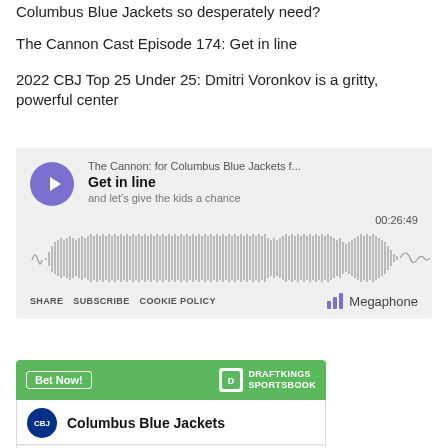Columbus Blue Jackets so desperately need?
The Cannon Cast Episode 174: Get in line
2022 CBJ Top 25 Under 25: Dmitri Voronkov is a gritty, powerful center
[Figure (screenshot): Podcast player widget showing 'The Cannon: for Columbus Blue Jackets f...' with episode 'Get in line' and subtitle 'and let’s give the kids a chance', duration 00:26:49, waveform visualization, SHARE SUBSCRIBE COOKIE POLICY links, and Megaphone branding.]
[Figure (screenshot): DraftKings Sportsbook widget with 'Bet Now!' button, showing Columbus Blue Jackets team entry with CBJ logo.]